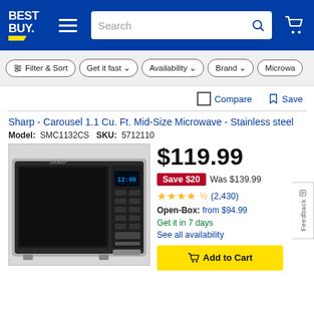Best Buy — Navigation header with logo, hamburger menu, search bar, and cart icon
Filter & Sort  Get it fast  Availability  Brand  Microwa...
Compare  Save
Sharp - Carousel 1.1 Cu. Ft. Mid-Size Microwave - Stainless steel
Model: SMC1132CS  SKU: 5712110
[Figure (photo): Sharp Carousel stainless steel mid-size microwave oven with digital display showing 12:00]
$119.99
Save $20  Was $139.99
★★★★½ (2,430)
Open-Box: from $94.99
Get it in 7 days
See all availability
Add to Cart